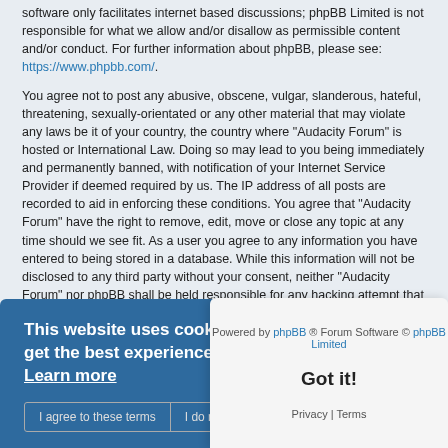software only facilitates internet based discussions; phpBB Limited is not responsible for what we allow and/or disallow as permissible content and/or conduct. For further information about phpBB, please see: https://www.phpbb.com/.
You agree not to post any abusive, obscene, vulgar, slanderous, hateful, threatening, sexually-orientated or any other material that may violate any laws be it of your country, the country where “Audacity Forum” is hosted or International Law. Doing so may lead to you being immediately and permanently banned, with notification of your Internet Service Provider if deemed required by us. The IP address of all posts are recorded to aid in enforcing these conditions. You agree that “Audacity Forum” have the right to remove, edit, move or close any topic at any time should we see fit. As a user you agree to any information you have entered to being stored in a database. While this information will not be disclosed to any third party without your consent, neither “Audacity Forum” nor phpBB shall be held responsible for any hacking attempt that may lead to the data being compromised.
This website uses cookies to ensure you get the best experience on our website. Learn more
Got it!
Board index | Contact us | Delete cookies | All times are UTC
Powered by phpBB ® Forum Software © phpBB Limited
Privacy | Terms